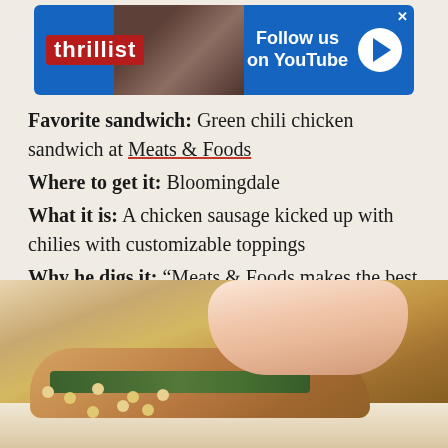[Figure (screenshot): Thrillist advertisement banner with red logo, photo of person, and blue 'Follow us on YouTube' button with play icon]
Favorite sandwich: Green chili chicken sandwich at Meats & Foods
Where to get it: Bloomingdale
What it is: A chicken sausage kicked up with chilies with customizable toppings
Why he digs it: “Meats & Foods makes the best sausage in Washington, DC,” Erik says. “They put a mango chutney on top of the green chili chicken sandwich that is just amazing.”
[Figure (photo): Close-up photo of a hand holding a green chili chicken sandwich wrapped in paper, showing sesame seed bun and green ingredients inside]